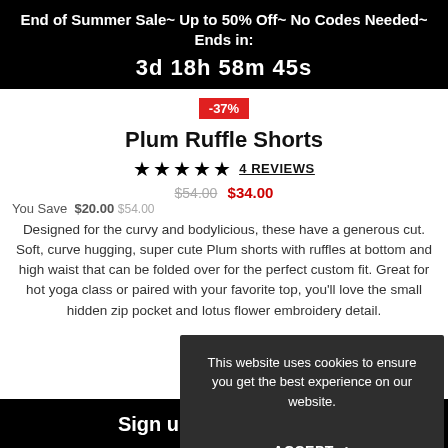End of Summer Sale~ Up to 50% Off~ No Codes Needed~ Ends in: 3d 18h 58m 45s
-37%
Plum Ruffle Shorts
★★★★★  4 REVIEWS
This website uses cookies to ensure you get the best experience on our website. ACCEPT ✓
You Save  $20.00
Designed for the curvy and bodylicious, these have a generous cut. Soft, curve hugging, super cute Plum shorts with ruffles at bottom and high waist that can be folded over for the perfect custom fit. Great for hot yoga class or paired with your favorite top, you'll love the small hidden zip pocket and lotus flower embroidery detail.
Sign up for discounts!